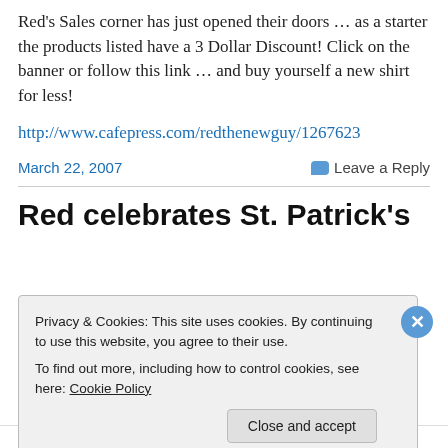Red's Sales corner has just opened their doors … as a starter the products listed have a 3 Dollar Discount! Click on the banner or follow this link … and buy yourself a new shirt for less!
http://www.cafepress.com/redthenewguy/1267623
March 22, 2007    Leave a Reply
Red celebrates St. Patrick's
Privacy & Cookies: This site uses cookies. By continuing to use this website, you agree to their use.
To find out more, including how to control cookies, see here: Cookie Policy
Close and accept